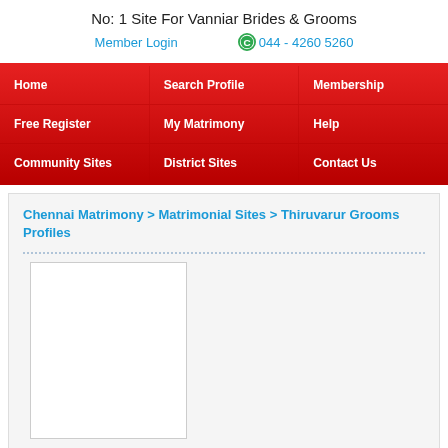No: 1 Site For Vanniar Brides & Grooms
Member Login
044 - 4260 5260
Home
Search Profile
Membership
Free Register
My Matrimony
Help
Community Sites
District Sites
Contact Us
Chennai Matrimony > Matrimonial Sites > Thiruvarur Grooms Profiles
[Figure (other): White rectangular placeholder image for profile photo]